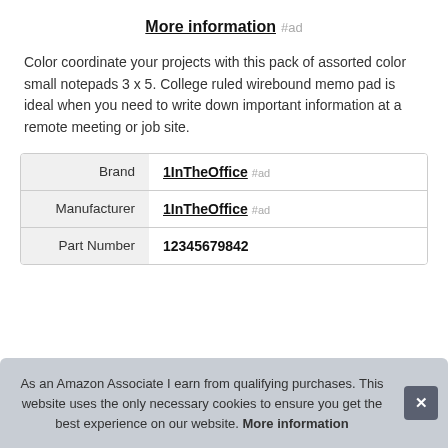More information #ad
Color coordinate your projects with this pack of assorted color small notepads 3 x 5. College ruled wirebound memo pad is ideal when you need to write down important information at a remote meeting or job site.
|  |  |
| --- | --- |
| Brand | 1InTheOffice #ad |
| Manufacturer | 1InTheOffice #ad |
| Part Number | 12345679842 |
As an Amazon Associate I earn from qualifying purchases. This website uses the only necessary cookies to ensure you get the best experience on our website. More information